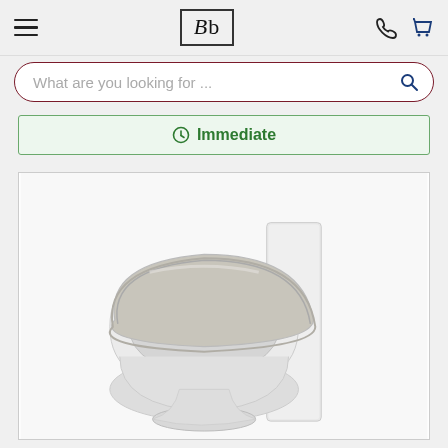Bb — website header with hamburger menu, logo, phone and cart icons
What are you looking for ...
Immediate
[Figure (photo): A white ceramic toilet with a grey/off-white toilet seat and lid closed, mounted on a pedestal base, against a white background inside a product image frame.]